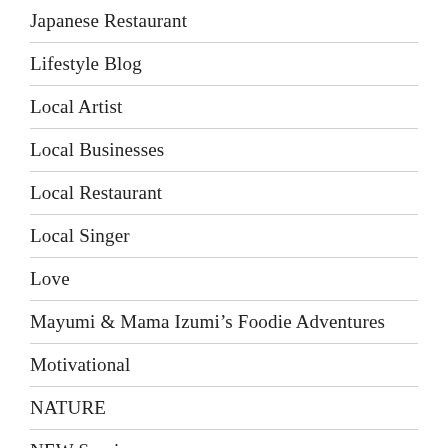Japanese Restaurant
Lifestyle Blog
Local Artist
Local Businesses
Local Restaurant
Local Singer
Love
Mayumi & Mama Izumi's Foodie Adventures
Motivational
NATURE
NEW Services